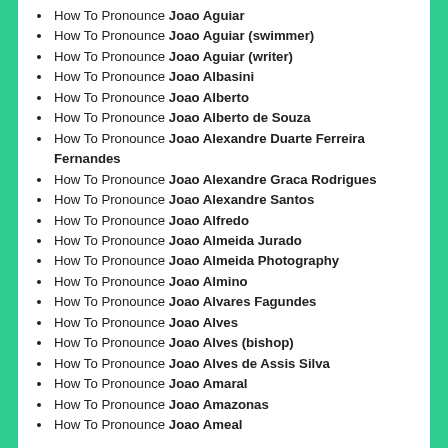How To Pronounce Joao Aguiar
How To Pronounce Joao Aguiar (swimmer)
How To Pronounce Joao Aguiar (writer)
How To Pronounce Joao Albasini
How To Pronounce Joao Alberto
How To Pronounce Joao Alberto de Souza
How To Pronounce Joao Alexandre Duarte Ferreira Fernandes
How To Pronounce Joao Alexandre Graca Rodrigues
How To Pronounce Joao Alexandre Santos
How To Pronounce Joao Alfredo
How To Pronounce Joao Almeida Jurado
How To Pronounce Joao Almeida Photography
How To Pronounce Joao Almino
How To Pronounce Joao Alvares Fagundes
How To Pronounce Joao Alves
How To Pronounce Joao Alves (bishop)
How To Pronounce Joao Alves de Assis Silva
How To Pronounce Joao Amaral
How To Pronounce Joao Amazonas
How To Pronounce Joao Ameal